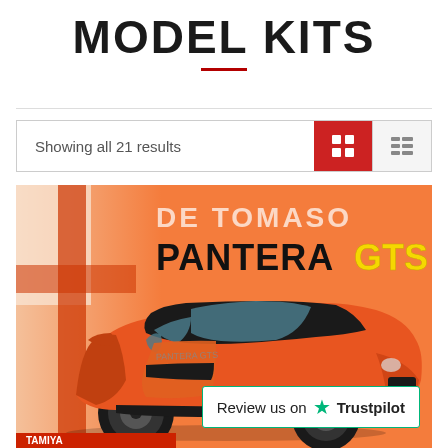MODEL KITS
Showing all 21 results
[Figure (photo): Product photo of De Tomaso Pantera GTS model kit box, showing an orange sports car with black stripes on an orange/red background with 'DE TOMASO PANTERA GTS' text]
Review us on Trustpilot